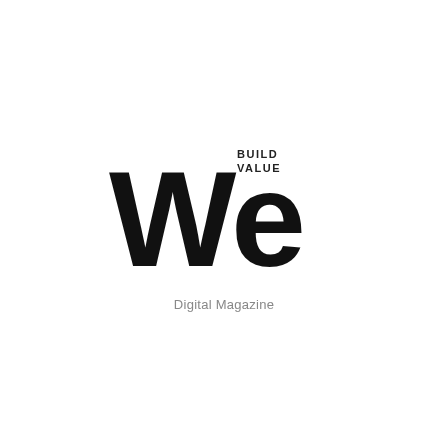[Figure (logo): We Build Value Digital Magazine logo — large bold black 'We' wordmark with 'BUILD VALUE' text in small caps above the 'e', and 'Digital Magazine' subtitle in gray below]
Digital Magazine